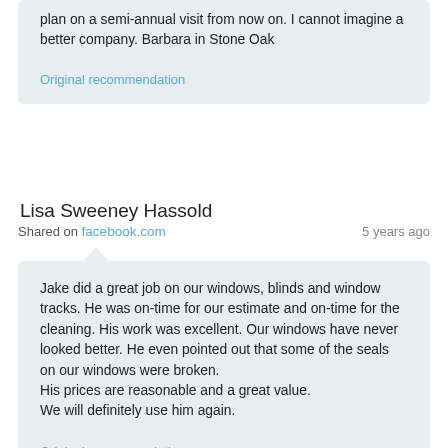plan on a semi-annual visit from now on. I cannot imagine a better company. Barbara in Stone Oak
Original recommendation
Lisa Sweeney Hassold
Shared on facebook.com   5 years ago
Jake did a great job on our windows, blinds and window tracks. He was on-time for our estimate and on-time for the cleaning. His work was excellent. Our windows have never looked better. He even pointed out that some of the seals on our windows were broken.
His prices are reasonable and a great value.
We will definitely use him again.
Original recommendation